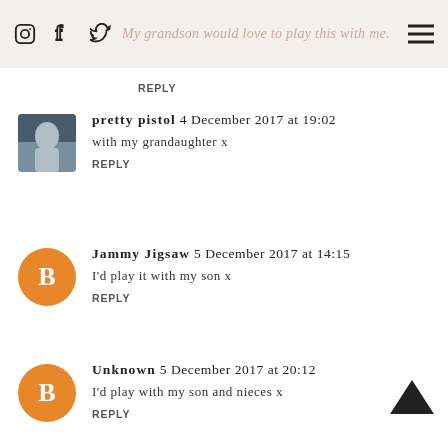My grandson would love to play this with me.
REPLY
pretty pistol 4 December 2017 at 19:02
with my grandaughter x
REPLY
Jammy Jigsaw 5 December 2017 at 14:15
I'd play it with my son x
REPLY
Unknown 5 December 2017 at 20:12
I'd play with my son and nieces x
REPLY